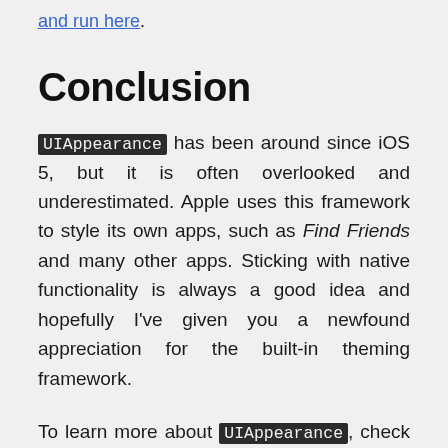and run here.
Conclusion
UIAppearance has been around since iOS 5, but it is often overlooked and underestimated. Apple uses this framework to style its own apps, such as Find Friends and many other apps. Sticking with native functionality is always a good idea and hopefully I've given you a newfound appreciation for the built-in theming framework.
To learn more about UIAppearance, check out these resources: